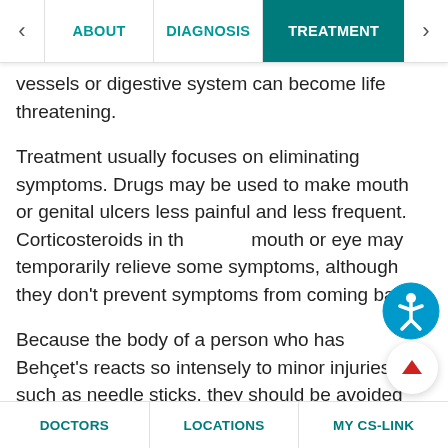ABOUT | DIAGNOSIS | TREATMENT
severe enough to cause blindness, block the vena vessels or digestive system can become life threatening.
Treatment usually focuses on eliminating symptoms. Drugs may be used to make mouth or genital ulcers less painful and less frequent. Corticosteroids in the mouth or eye may temporarily relieve some symptoms, although they don't prevent symptoms from coming back.
Because the body of a person who has Behçet's reacts so intensely to minor injuries such as needle sticks, they should be avoided when possible. Occasional patients with severe symptoms respond high dose corticosteroids
DOCTORS | LOCATIONS | MY CS-LINK